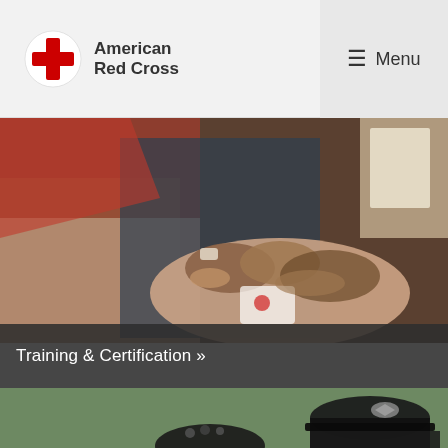American Red Cross | Menu
[Figure (photo): People performing CPR compressions on a training mannequin during a first aid training session. A woman in a red shirt and another person press their hands on the chest of the mannequin. Training materials are visible in the background.]
Training & Certification »
[Figure (photo): Partial view of a young child and a person wearing a dark military cap with an eagle insignia badge, photographed outdoors with green background.]